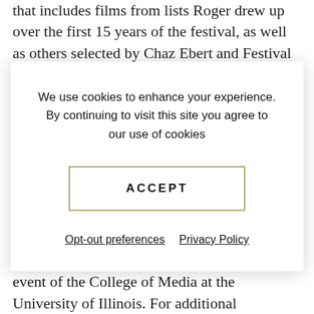that includes films from lists Roger drew up over the first 15 years of the festival, as well as others selected by Chaz Ebert and Festival Director Nate Kohn based on
We use cookies to enhance your experience. By continuing to visit this site you agree to our use of cookies
ACCEPT
Opt-out preferences   Privacy Policy
Friday, April 23, 2020, and are $25 ($22 for students and seniors). Ebertfest is a special event of the College of Media at the University of Illinois. For additional